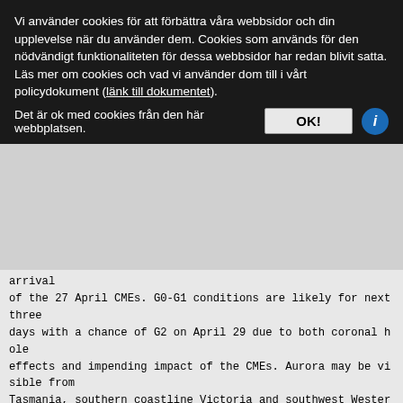Vi använder cookies för att förbättra våra webbsidor och din upplevelse när du använder dem. Cookies som används för den nödvändigt funktionaliteten för dessa webbsidor har redan blivit satta.
Läs mer om cookies och vad vi använder dom till i vårt policydokument (länk till dokumentet).
Det är ok med cookies från den här webbplatsen.
arrival
of the 27 April CMEs. G0-G1 conditions are likely for next three
days with a chance of G2 on April 29 due to both coronal hole
effects and impending impact of the CMEs. Aurora may be visible from
Tasmania, southern coastline Victoria and southwest Western
Australia."

On Wednesday and Thursday, I am seeing sunspot groups threaded
across the Sun from southeast to northwest. Daily sunspot number
peaked at 126 on Tuesday, and average daily sunspot number for the
week was 109.3, up from 64.4 last week. Daily solar flux p